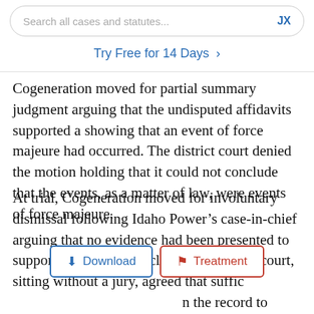Search all cases and statutes... JX
Try Free for 14 Days >
Cogeneration moved for partial summary judgment arguing that the undisputed affidavits supported a showing that an event of force majeure had occurred. The district court denied the motion holding that it could not conclude that the events, as a matter of law, were events of force majeure.
At trial, Cogeneration moved for involuntary dismissal following Idaho Power’s case-in-chief arguing that no evidence had been presented to support Idaho Power’s claim. The district court, sitting without a jury, agreed that suffic[ient evidence had been presented] in the record to [support the claim. The court] denied the motion to dismiss and granted Idaho Power’s motion to
[Figure (screenshot): Two overlay buttons: a blue-bordered Download button and a red-bordered Treatment button]